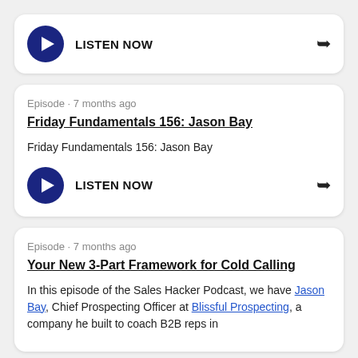LISTEN NOW
Episode · 7 months ago
Friday Fundamentals 156: Jason Bay
Friday Fundamentals 156: Jason Bay
LISTEN NOW
Episode · 7 months ago
Your New 3-Part Framework for Cold Calling
In this episode of the Sales Hacker Podcast, we have Jason Bay, Chief Prospecting Officer at Blissful Prospecting, a company he built to coach B2B reps in